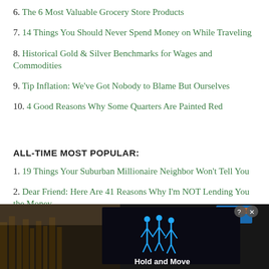6. The 6 Most Valuable Grocery Store Products
7. 14 Things You Should Never Spend Money on While Traveling
8. Historical Gold & Silver Benchmarks for Wages and Commodities
9. Tip Inflation: We've Got Nobody to Blame But Ourselves
10. 4 Good Reasons Why Some Quarters Are Painted Red
ALL-TIME MOST POPULAR:
1. 19 Things Your Suburban Millionaire Neighbor Won't Tell You
2. Dear Friend: Here Are 41 Reasons Why I'm NOT Lending You the Money
3. Why Your Expensive Luxury Car Doesn't Impress Smart People
4. If You Can't Live on $40,000 Annually It's Your Own Fault
[Figure (screenshot): Advertisement banner at bottom of page showing a dark background with blue lit figures holding signs reading 'Hold and Move', with outdoor trees in background. Small close/help buttons visible in top right corner.]